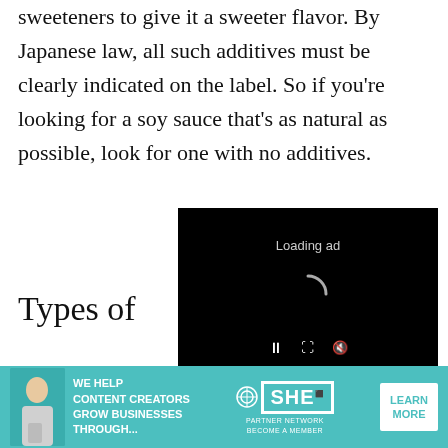sweeteners to give it a sweeter flavor. By Japanese law, all such additives must be clearly indicated on the label. So if you're looking for a soy sauce that's as natural as possible, look for one with no additives.
[Figure (screenshot): Video ad overlay showing 'Loading ad' text with a spinning loading circle and playback controls (pause, expand, mute) on a black background]
Types of
There are 5 main traditional types of
[Figure (screenshot): Bottom banner advertisement for SHE Partner Network reading 'WE HELP CONTENT CREATORS GROW BUSINESSES THROUGH...' with a LEARN MORE button on teal background]